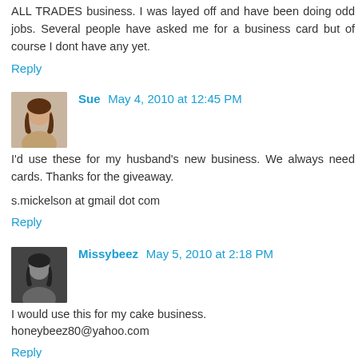ALL TRADES business. I was layed off and have been doing odd jobs. Several people have asked me for a business card but of course I dont have any yet.
Reply
Sue May 4, 2010 at 12:45 PM
I'd use these for my husband's new business. We always need cards. Thanks for the giveaway.

s.mickelson at gmail dot com
Reply
Missybeez May 5, 2010 at 2:18 PM
I would use this for my cake business.
honeybeez80@yahoo.com
Reply
stuart May 5, 2010 at 2:01 PM